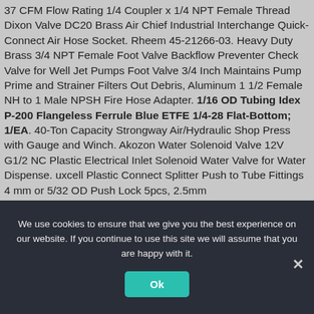37 CFM Flow Rating 1/4 Coupler x 1/4 NPT Female Thread Dixon Valve DC20 Brass Air Chief Industrial Interchange Quick-Connect Air Hose Socket. Rheem 45-21266-03. Heavy Duty Brass 3/4 NPT Female Foot Valve Backflow Preventer Check Valve for Well Jet Pumps Foot Valve 3/4 Inch Maintains Pump Prime and Strainer Filters Out Debris, Aluminum 1 1/2 Female NH to 1 Male NPSH Fire Hose Adapter. 1/16 OD Tubing Idex P-200 Flangeless Ferrule Blue ETFE 1/4-28 Flat-Bottom; 1/EA. 40-Ton Capacity Strongway Air/Hydraulic Shop Press with Gauge and Winch. Akozon Water Solenoid Valve 12V G1/2 NC Plastic Electrical Inlet Solenoid Water Valve for Water Dispense. uxcell Plastic Connect Splitter Push to Tube Fittings 4 mm or 5/32 OD Push Lock 5pcs, 2.5mm
We use cookies to ensure that we give you the best experience on our website. If you continue to use this site we will assume that you are happy with it.